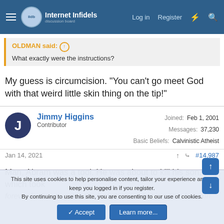Internet Infidels — Log in | Register
OLDMAN said: ↑
What exactly were the instructions?
My guess is circumcision. "You can't go meet God with that weird little skin thing on the tip!"
Jimmy Higgins
Contributor
Joined: Feb 1, 2001
Messages: 37,230
Basic Beliefs: Calvinistic Atheist
Jan 14, 2021  ↑  #14,987
Man, Abram was a tool. He was about to kill his son, which took forever for him to get in the first place... what is a little foreskin
This site uses cookies to help personalise content, tailor your experience and to keep you logged in if you register.
By continuing to use this site, you are consenting to our use of cookies.